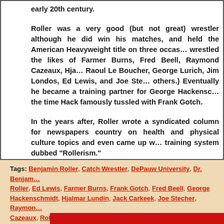early 20th century. Roller was a very good (but not great) wrestler although he did win his matches, and held the American Heavyweight title on three occasions, wrestled the likes of Farmer Burns, Fred Beell, Raymond Cazeaux, Hjalmar Lundin, Raoul Le Boucher, George Lurich, Jim Londos, Ed Lewis, and Joe Stecher (among others.) Eventually he became a training partner for George Hackenschmidt around the time Hack famously tussled with Frank Gotch. In the years after, Roller wrote a syndicated column for newspapers across the country on health and physical culture topics and even came up with his own training system dubbed “Rollerism.”
Tags: Benjamin Roller, Catch Wrestler, DePauw University, Dr. Benjamin Roller, Ed Lewis, Farmer Burns, Frank Gotch, Fred Beell, George Hackenschmidt, Hjalmar Lundin, Jack Carkeek, Joe Stecher, Raymond Cazeaux, Rollerism, Stanislaus Zbyszko, The Great Gama, Wrestling
www.oldtimestrongman.com
<<< BLOG Home